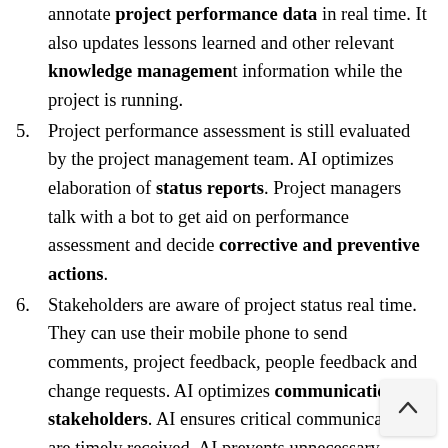annotate project performance data in real time. It also updates lessons learned and other relevant knowledge management information while the project is running.
5. Project performance assessment is still evaluated by the project management team. AI optimizes elaboration of status reports. Project managers talk with a bot to get aid on performance assessment and decide corrective and preventive actions.
6. Stakeholders are aware of project status real time. They can use their mobile phone to send comments, project feedback, people feedback and change requests. AI optimizes communications to stakeholders. AI ensures critical communications are timely received. AI prevents unnecessary communications to